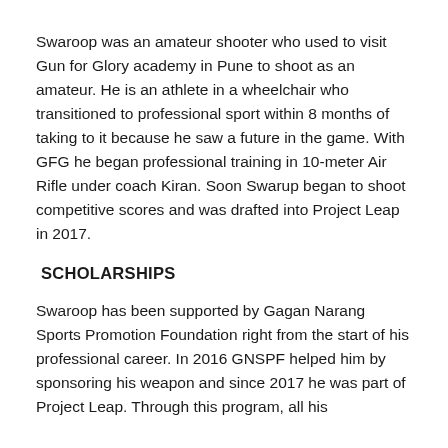Swaroop was an amateur shooter who used to visit Gun for Glory academy in Pune to shoot as an amateur. He is an athlete in a wheelchair who transitioned to professional sport within 8 months of taking to it because he saw a future in the game. With GFG he began professional training in 10-meter Air Rifle under coach Kiran. Soon Swarup began to shoot competitive scores and was drafted into Project Leap in 2017.
SCHOLARSHIPS
Swaroop has been supported by Gagan Narang Sports Promotion Foundation right from the start of his professional career. In 2016 GNSPF helped him by sponsoring his weapon and since 2017 he was part of Project Leap. Through this program, all his